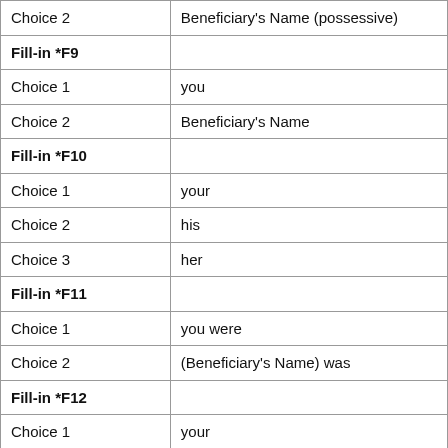|  |  |
| --- | --- |
| Choice 2 | Beneficiary's Name (possessive) |
| Fill-in *F9 |  |
| Choice 1 | you |
| Choice 2 | Beneficiary's Name |
| Fill-in *F10 |  |
| Choice 1 | your |
| Choice 2 | his |
| Choice 3 | her |
| Fill-in *F11 |  |
| Choice 1 | you were |
| Choice 2 | (Beneficiary's Name) was |
| Fill-in *F12 |  |
| Choice 1 | your |
| Choice 2 | his |
| Choice 3 | her |
| Fill-in *F13 |  |
| Choice 1 | you are |